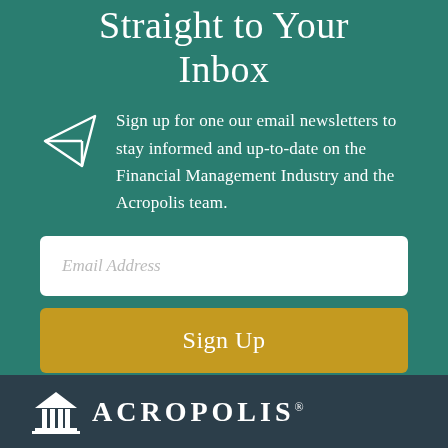Straight to Your Inbox
Sign up for one our email newsletters to stay informed and up-to-date on the Financial Management Industry and the Acropolis team.
[Figure (illustration): White paper airplane / send icon]
Email Address
Sign Up
[Figure (logo): Acropolis logo with house icon and ACROPOLIS text with registered trademark symbol]